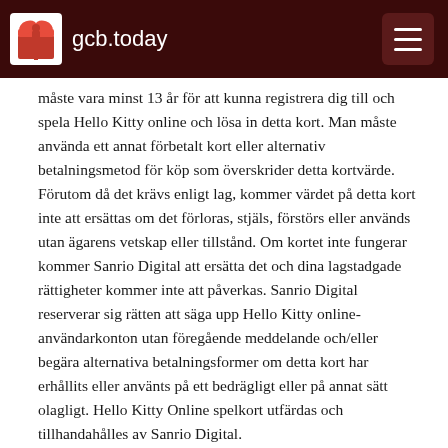gcb.today
måste vara minst 13 år för att kunna registrera dig till och spela Hello Kitty online och lösa in detta kort. Man måste använda ett annat förbetalt kort eller alternativ betalningsmetod för köp som överskrider detta kortvärde. Förutom då det krävs enligt lag, kommer värdet på detta kort inte att ersättas om det förloras, stjäls, förstörs eller används utan ägarens vetskap eller tillstånd. Om kortet inte fungerar kommer Sanrio Digital att ersätta det och dina lagstadgade rättigheter kommer inte att påverkas. Sanrio Digital reserverar sig rätten att säga upp Hello Kitty online-användarkonton utan föregående meddelande och/eller begära alternativa betalningsformer om detta kort har erhållits eller använts på ett bedrägligt eller på annat sätt olagligt. Hello Kitty Online spelkort utfärdas och tillhandahålles av Sanrio Digital.